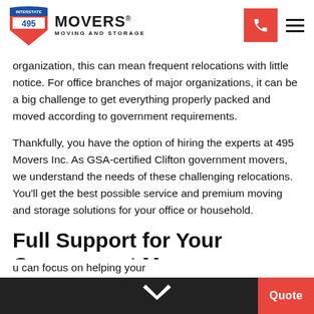[Figure (logo): 495 Movers Moving and Storage logo with interstate highway shield icon]
organization, this can mean frequent relocations with little notice. For office branches of major organizations, it can be a big challenge to get everything properly packed and moved according to government requirements.
Thankfully, you have the option of hiring the experts at 495 Movers Inc. As GSA-certified Clifton government movers, we understand the needs of these challenging relocations. You'll get the best possible service and premium moving and storage solutions for your office or household.
Full Support for Your Government Move
Making a sudden move can be difficult for your loved ones. At 495 Movers, we provide swift moving services that cover all
u can focus on helping your